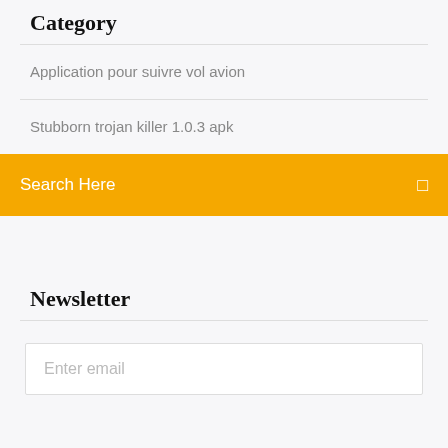Category
Application pour suivre vol avion
Stubborn trojan killer 1.0.3 apk
Search Here
Newsletter
Enter email